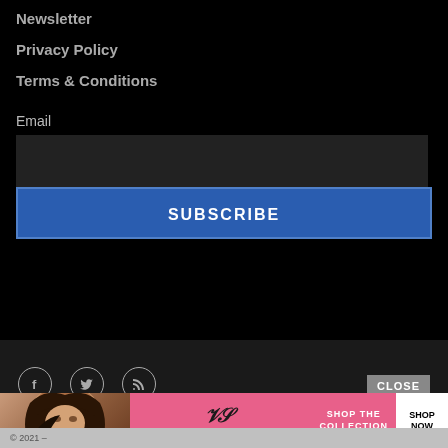Newsletter
Privacy Policy
Terms & Conditions
Email
[Figure (other): Email input text field, dark background]
SUBSCRIBE
[Figure (other): Social media icons: Facebook, Twitter, RSS feed]
CLOSE
© 2021 –
[Figure (other): Victoria's Secret advertisement banner: woman with curly hair, pink background, Shop the Collection, Shop Now button]